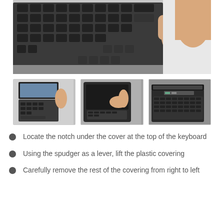[Figure (photo): Close-up photo of a laptop keyboard with a hand reaching in from the upper right, showing the top of the keyboard area.]
[Figure (photo): Three thumbnail photos showing steps: (1) a hand using a tool at the top of a laptop keyboard, (2) a hand lifting the plastic cover of a laptop, (3) the laptop with the cover partially removed showing the keyboard.]
Locate the notch under the cover at the top of the keyboard
Using the spudger as a lever, lift the plastic covering
Carefully remove the rest of the covering from right to left